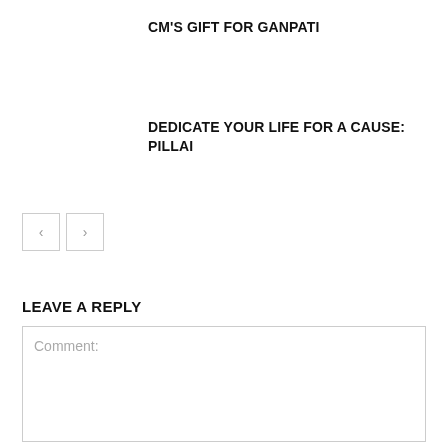CM'S GIFT FOR GANPATI
DEDICATE YOUR LIFE FOR A CAUSE: PILLAI
LEAVE A REPLY
Comment: